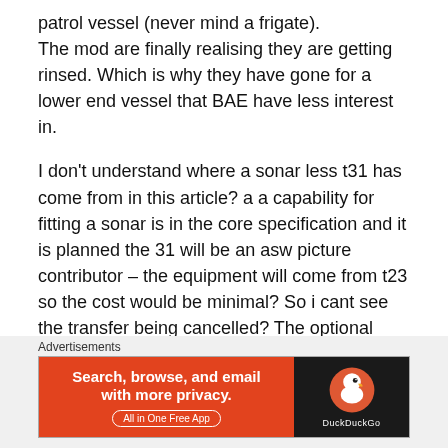patrol vessel (never mind a frigate). The mod are finally realising they are getting rinsed. Which is why they have gone for a lower end vessel that BAE have less interest in.
I don't understand where a sonar less t31 has come from in this article? a a capability for fitting a sonar is in the core specification and it is planned the 31 will be an asw picture contributor – the equipment will come from t23 so the cost would be minimal? So i cant see the transfer being cancelled? The optional
Advertisements
[Figure (other): DuckDuckGo advertisement banner: orange left panel with text 'Search, browse, and email with more privacy. All in One Free App' and dark right panel with DuckDuckGo logo and name.]